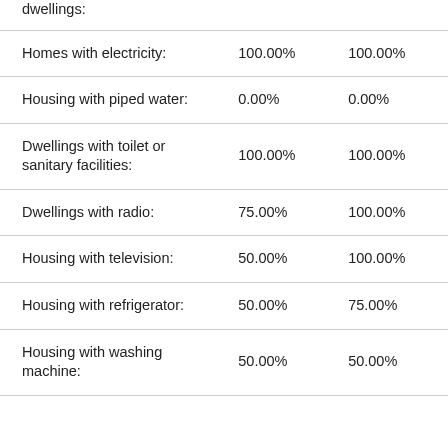|  | Col1 | Col2 |
| --- | --- | --- |
| dwellings: |  |  |
| Homes with electricity: | 100.00% | 100.00% |
| Housing with piped water: | 0.00% | 0.00% |
| Dwellings with toilet or sanitary facilities: | 100.00% | 100.00% |
| Dwellings with radio: | 75.00% | 100.00% |
| Housing with television: | 50.00% | 100.00% |
| Housing with refrigerator: | 50.00% | 75.00% |
| Housing with washing machine: | 50.00% | 50.00% |